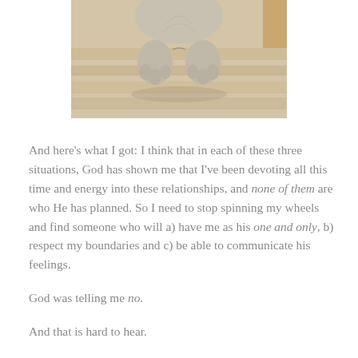[Figure (photo): A cat viewed from above, showing its paws pressed together against a wooden floor background, cropped to show only the lower body and paws.]
And here’s what I got: I think that in each of these three situations, God has shown me that I’ve been devoting all this time and energy into these relationships, and none of them are who He has planned. So I need to stop spinning my wheels and find someone who will a) have me as his one and only, b) respect my boundaries and c) be able to communicate his feelings.
God was telling me no.
And that is hard to hear.